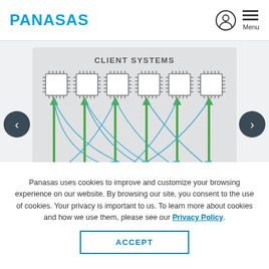PANASAS
[Figure (engineering-diagram): Diagram showing CLIENT SYSTEMS label above 6 chip/processor icons. Green upward arrows connect from below to each chip. Blue curved arrows connect from each chip crossing to other chips, indicating parallel data paths or connections between client systems.]
Panasas uses cookies to improve and customize your browsing experience on our website. By browsing our site, you consent to the use of cookies. Your privacy is important to us. To learn more about cookies and how we use them, please see our Privacy Policy.
ACCEPT